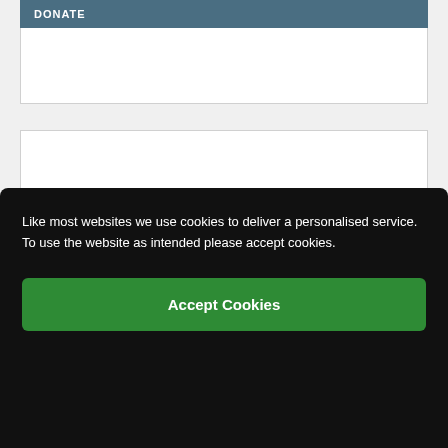DONATE
Support our work
£10
Like most websites we use cookies to deliver a personalised service. To use the website as intended please accept cookies.
Accept Cookies